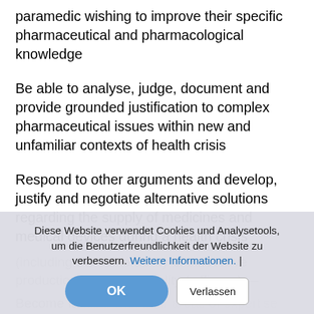paramedic wishing to improve their specific pharmaceutical and pharmacological knowledge
Be able to analyse, judge, document and provide grounded justification to complex pharmaceutical issues within new and unfamiliar contexts of health crisis
Respond to other arguments and develop, justify and negotiate alternative solutions regarding the supply of medicines and medical devices during a health crisis
(faded text partially obscured by overlay)
Become familiar with their areas of expertise and professional fields and be able to...
Diese Website verwendet Cookies und Analysetools, um die Benutzerfreundlichkeit der Website zu verbessern. Weitere Informationen. | OK | Verlassen